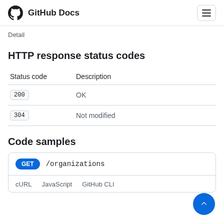GitHub Docs
Detail
HTTP response status codes
| Status code | Description |
| --- | --- |
| 200 | OK |
| 304 | Not modified |
Code samples
GET /organizations
cURL  JavaScript  GitHub CLI